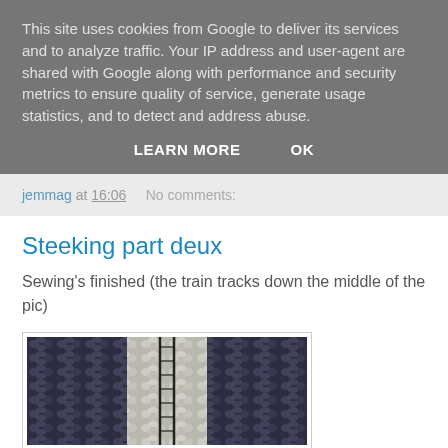This site uses cookies from Google to deliver its services and to analyze traffic. Your IP address and user-agent are shared with Google along with performance and security metrics to ensure quality of service, generate usage statistics, and to detect and address abuse.
LEARN MORE   OK
jemmag at 16:06   No comments:
Steeking part deux
Sewing's finished (the train tracks down the middle of the pic)
[Figure (photo): Close-up photo of knitted fabric showing train track stitching down the middle]